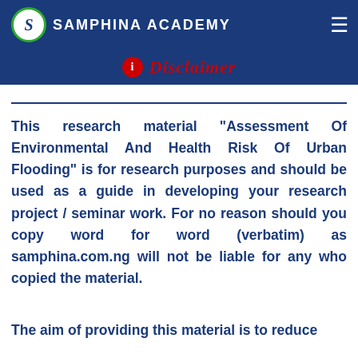SAMPHINA ACADEMY
Disclaimer
This research material “Assessment Of Environmental And Health Risk Of Urban Flooding” is for research purposes and should be used as a guide in developing your research project / seminar work. For no reason should you copy word for word (verbatim) as samphina.com.ng will not be liable for any who copied the material.
The aim of providing this material is to reduce